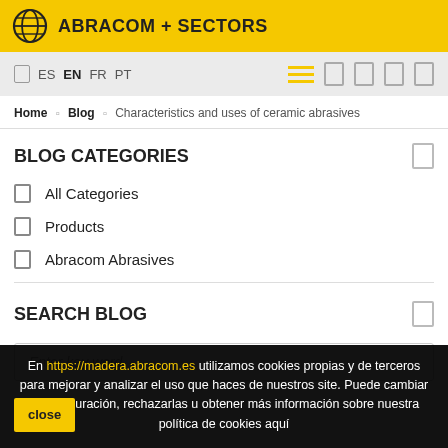ABRACOM + SECTORS
ES EN FR PT
Home › Blog › Characteristics and uses of ceramic abrasives
BLOG CATEGORIES
All Categories
Products
Abracom Abrasives
SEARCH BLOG
Enter key word
En https://madera.abracom.es utilizamos cookies propias y de terceros para mejorar y analizar el uso que haces de nuestros site. Puede cambiar la configuración, rechazarlas u obtener más información sobre nuestra política de cookies aquí